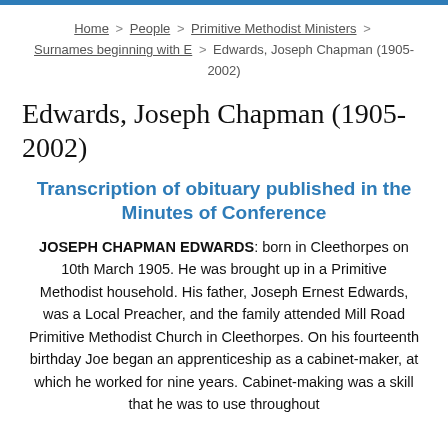Home > People > Primitive Methodist Ministers > Surnames beginning with E > Edwards, Joseph Chapman (1905-2002)
Edwards, Joseph Chapman (1905-2002)
Transcription of obituary published in the Minutes of Conference
JOSEPH CHAPMAN EDWARDS: born in Cleethorpes on 10th March 1905. He was brought up in a Primitive Methodist household. His father, Joseph Ernest Edwards, was a Local Preacher, and the family attended Mill Road Primitive Methodist Church in Cleethorpes. On his fourteenth birthday Joe began an apprenticeship as a cabinet-maker, at which he worked for nine years. Cabinet-making was a skill that he was to use throughout